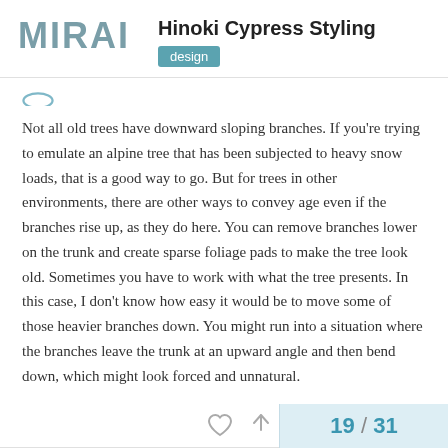MIRAI — Hinoki Cypress Styling — design
Hinoki Cypress Styling
Not all old trees have downward sloping branches. If you're trying to emulate an alpine tree that has been subjected to heavy snow loads, that is a good way to go. But for trees in other environments, there are other ways to convey age even if the branches rise up, as they do here. You can remove branches lower on the trunk and create sparse foliage pads to make the tree look old. Sometimes you have to work with what the tree presents. In this case, I don't know how easy it would be to move some of those heavier branches down. You might run into a situation where the branches leave the trunk at an upward angle and then bend down, which might look forced and unnatural.
19 / 31